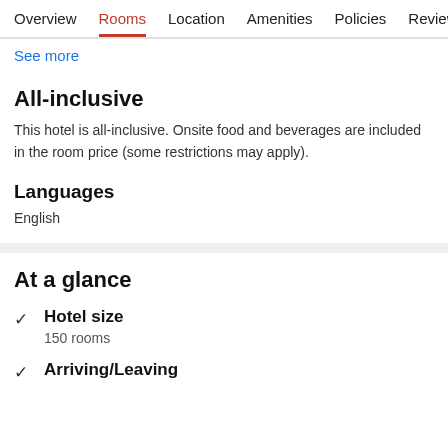Overview  Rooms  Location  Amenities  Policies  Reviews
See more
All-inclusive
This hotel is all-inclusive. Onsite food and beverages are included in the room price (some restrictions may apply).
Languages
English
At a glance
Hotel size
150 rooms
Arriving/Leaving